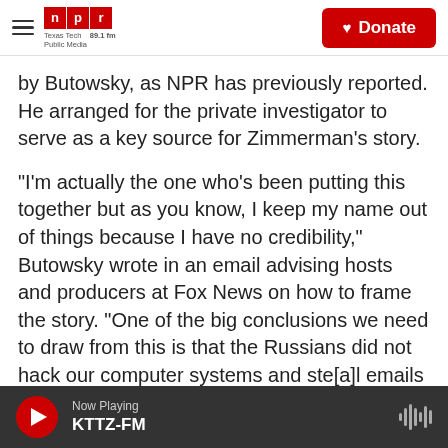NPR Texas Tech Public Media 89.1 fm | Donate
by Butowsky, as NPR has previously reported. He arranged for the private investigator to serve as a key source for Zimmerman's story.
"I'm actually the one who's been putting this together but as you know, I keep my name out of things because I have no credibility," Butowsky wrote in an email advising hosts and producers at Fox News on how to frame the story. "One of the big conclusions we need to draw from this is that the Russians did not hack our computer systems and ste[a]l emails and there was no collusion between Trump and the Russians."
Now Playing KTTZ-FM